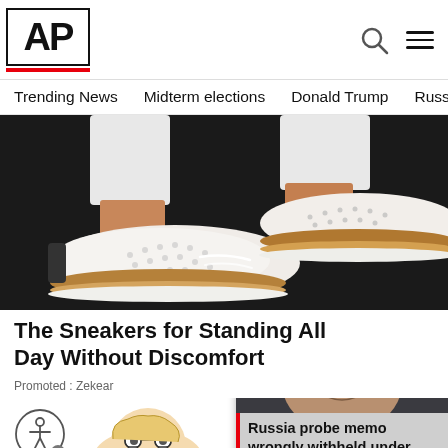[Figure (logo): AP (Associated Press) logo in black box with red underline bar]
Trending News   Midterm elections   Donald Trump   Russia-Ukr
[Figure (photo): Close-up photo of person wearing white perforated sneakers with brown soles on dark ground]
The Sneakers for Standing All Day Without Discomfort
Promoted : Zekear
[Figure (illustration): Cartoon illustration of a person's head]
[Figure (photo): Notification popup showing photo of man with glasses (Barr) with headline: Russia probe memo wrongly withheld under Barr, court ...]